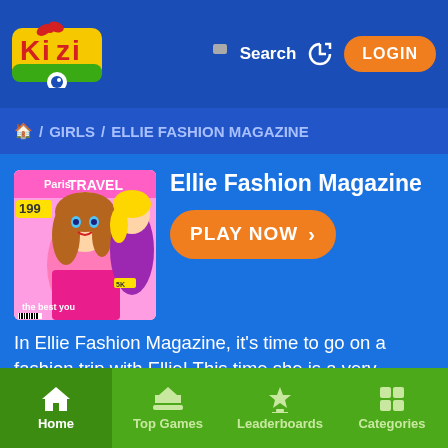Kizi — Search — LOGIN
🏠 / GIRLS / ELLIE FASHION MAGAZINE
Ellie Fashion Magazine
PLAY NOW >
In Ellie Fashion Magazine, it's time to go on a fashion trip with Ellie! This time she is a very famous model whom everybody wants to make her cover of their magazine! And you are her fashion designer during this period! Will you able to dress her up appropriately for a magazine cover? Have fun!
Home   Top Games   Leaderboards   Categories